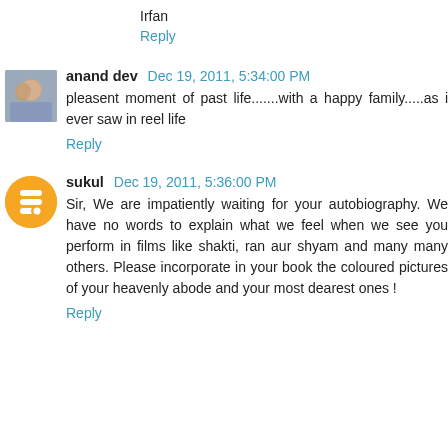Irfan
Reply
anand dev  Dec 19, 2011, 5:34:00 PM
pleasent moment of past life.......with a happy family.....as i ever saw in reel life
Reply
sukul  Dec 19, 2011, 5:36:00 PM
Sir, We are impatiently waiting for your autobiography. We have no words to explain what we feel when we see you perform in films like shakti, ran aur shyam and many many others. Please incorporate in your book the coloured pictures of your heavenly abode and your most dearest ones !
Reply